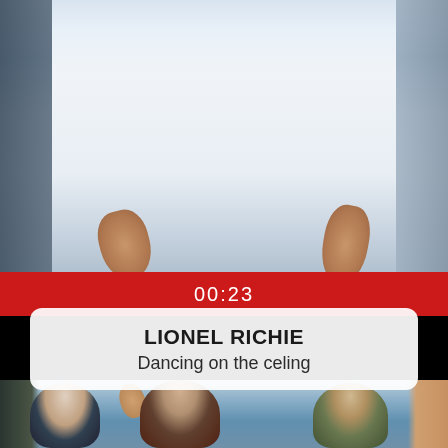[Figure (photo): Upper portion showing a person in a white button-up shirt, close-up of torso and hands, with blue-grey background. Dark strips on left and right sides suggesting adjacent images.]
00:23
LIONEL RICHIE
Dancing on the celing
[Figure (photo): Bottom strip showing people near water - an older bald man waving, a woman with curly hair, and a young man, appearing to be at a beach or seaside location.]